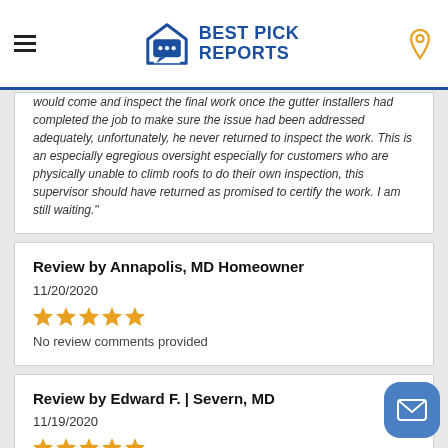Best Pick Reports
would come and inspect the final work once the gutter installers had completed the job to make sure the issue had been addressed adequately, unfortunately, he never returned to inspect the work. This is an especially egregious oversight especially for customers who are physically unable to climb roofs to do their own inspection, this supervisor should have returned as promised to certify the work. I am still waiting."
Review by Annapolis, MD Homeowner
11/20/2020
★★★★★
No review comments provided
Review by Edward F. | Severn, MD
11/19/2020
★★★★★
"I'd recommend Thompson Creek to anybody. They did my windows, my floor, and my carpet. They did my back sliding glass door. Everything they've done